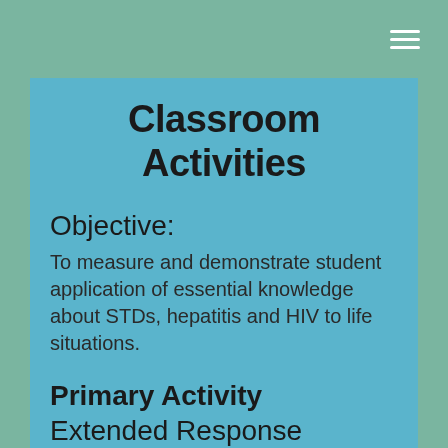≡
Classroom Activities
Objective:
To measure and demonstrate student application of essential knowledge about STDs, hepatitis and HIV to life situations.
Primary Activity Extended Response